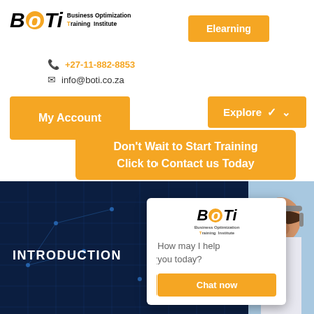[Figure (logo): BOTI Business Optimization Training Institute logo with orange O]
Elearning
+27-11-882-8853
info@boti.co.za
My Account
Explore
Don't Wait to Start Training Click to Contact us Today
[Figure (photo): Dark blue tech background with circuit patterns]
INTRODUCTION
[Figure (illustration): Chat popup widget with BOTI logo, 'How may I help you today?' text and Chat now button]
[Figure (photo): Person wearing headset viewed from side]